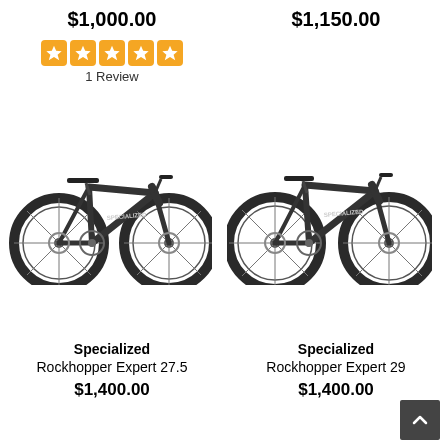$1,000.00
$1,150.00
★★★★★ 1 Review
[Figure (photo): Specialized Rockhopper Expert 27.5 mountain bike in dark gray/black colorway, side view]
[Figure (photo): Specialized Rockhopper Expert 29 mountain bike in dark gray/black colorway, side view]
Specialized Rockhopper Expert 27.5
$1,400.00
Specialized Rockhopper Expert 29
$1,400.00